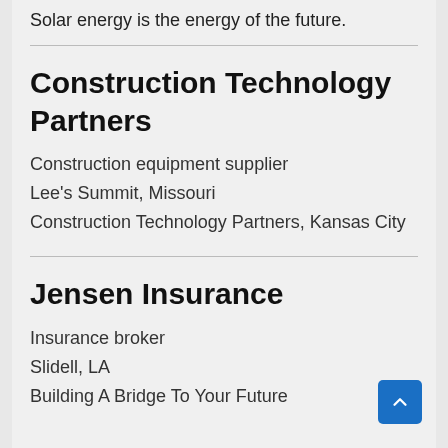Solar energy is the energy of the future.
Construction Technology Partners
Construction equipment supplier
Lee's Summit, Missouri
Construction Technology Partners, Kansas City
Jensen Insurance
Insurance broker
Slidell, LA
Building A Bridge To Your Future